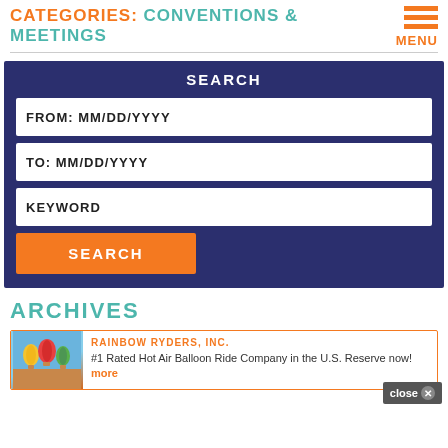CATEGORIES: Conventions & Meetings
SEARCH
FROM: MM/DD/YYYY
TO: MM/DD/YYYY
KEYWORD
SEARCH
ARCHIVES
close
RAINBOW RYDERS, INC. #1 Rated Hot Air Balloon Ride Company in the U.S. Reserve now! more